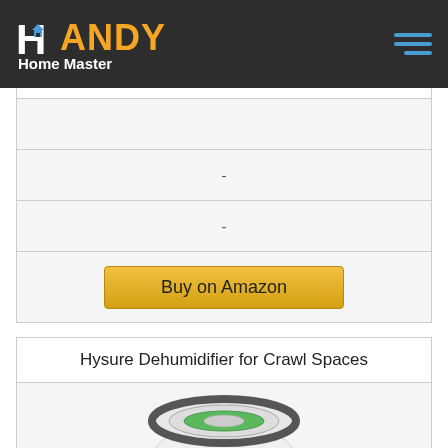HANDY Home Master
|  |
| - |
| - |
| Buy on Amazon |
Hysure Dehumidifier for Crawl Spaces
[Figure (photo): Photo of a white cylindrical dehumidifier with a green indicator light on top, viewed from above at a slight angle]